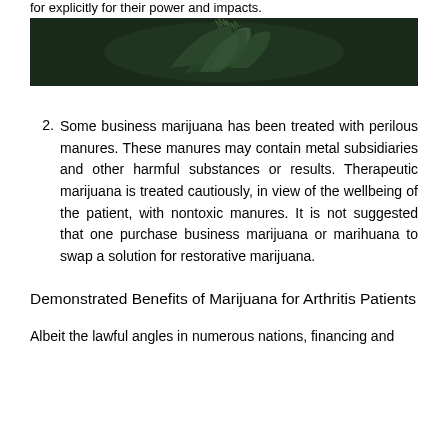for explicitly for their power and impacts.
[Figure (photo): Close-up photograph of a cannabis/marijuana plant with dark background, showing green leafy buds.]
Some business marijuana has been treated with perilous manures. These manures may contain metal subsidiaries and other harmful substances or results. Therapeutic marijuana is treated cautiously, in view of the wellbeing of the patient, with nontoxic manures. It is not suggested that one purchase business marijuana or marihuana to swap a solution for restorative marijuana.
Demonstrated Benefits of Marijuana for Arthritis Patients
Albeit the lawful angles in numerous nations, financing and